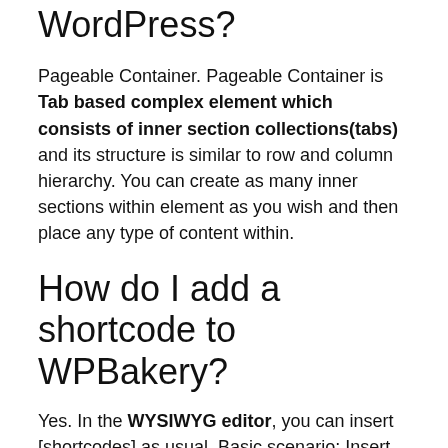WordPress?
Pageable Container. Pageable Container is Tab based complex element which consists of inner section collections(tabs) and its structure is similar to row and column hierarchy. You can create as many inner sections within element as you wish and then place any type of content within.
How do I add a shortcode to WPBakery?
Yes. In the WYSIWYG editor, you can insert [shortcodes] as usual. Basic scenario: Insert Text Block from Content Elements section, click Edit button and in the editor, enter your